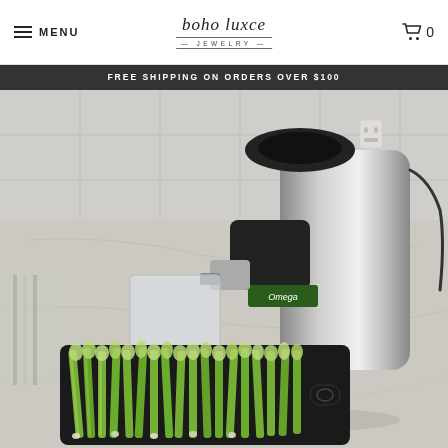MENU | boho luxe JEWELRY | Cart 0
FREE SHIPPING ON ORDERS OVER $100
[Figure (photo): A chrome Omega brand juicer on a marble countertop, with celery stalks cut and arranged on a black cutting board in the foreground. A clear plastic container sits to the left of the juicer.]